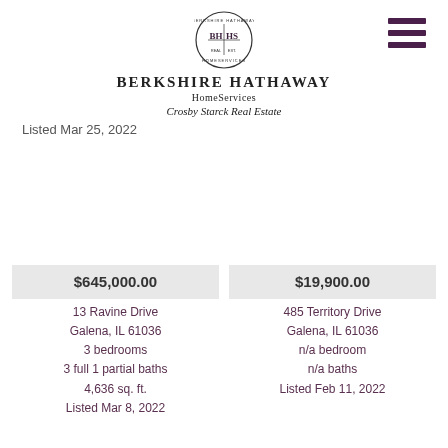[Figure (logo): Berkshire Hathaway HomeServices Crosby Starck Real Estate logo with circular BH HS emblem and company name]
[Figure (other): Hamburger menu icon (three horizontal dark purple bars) in top right corner]
Listed Mar 25, 2022
$645,000.00
13 Ravine Drive
Galena, IL 61036
3 bedrooms
3 full 1 partial baths
4,636 sq. ft.
Listed Mar 8, 2022
$19,900.00
485 Territory Drive
Galena, IL 61036
n/a bedroom
n/a baths
Listed Feb 11, 2022